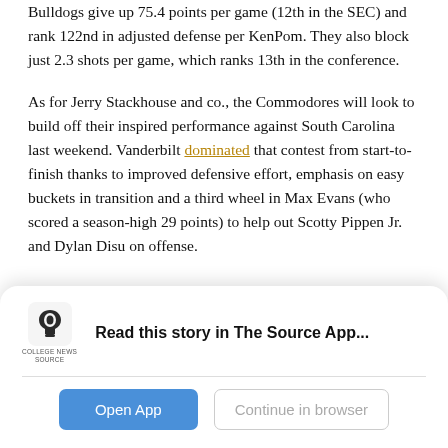Bulldogs give up 75.4 points per game (12th in the SEC) and rank 122nd in adjusted defense per KenPom. They also block just 2.3 shots per game, which ranks 13th in the conference.
As for Jerry Stackhouse and co., the Commodores will look to build off their inspired performance against South Carolina last weekend. Vanderbilt dominated that contest from start-to-finish thanks to improved defensive effort, emphasis on easy buckets in transition and a third wheel in Max Evans (who scored a season-high 29 points) to help out Scotty Pippen Jr. and Dylan Disu on offense.
Read this story in The Source App...
Open App  Continue in browser